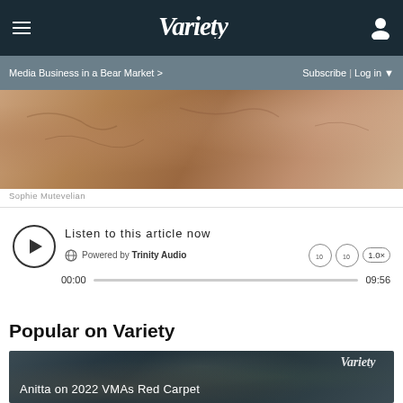Variety
Media Business in a Bear Market >
Subscribe | Log in
[Figure (photo): Partial hero image showing a tattooed person and flowers, warm tones]
Sophie Mutevelian
Listen to this article now  Powered by Trinity Audio  00:00  09:56  1.0×
Popular on Variety
[Figure (screenshot): Video thumbnail for Anitta on 2022 VMAs Red Carpet with Variety watermark logo]